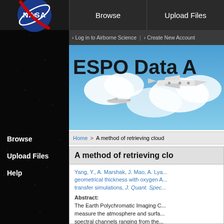[Figure (logo): NASA meatball logo - blue circle with white NASA text and red swoosh]
Browse | Upload Files
› Log in to Airborne Science  |  › Create New Account
[Figure (photo): ESPO Data Archive banner with aircraft flying through clouds on blue sky background]
Home > A method of retrieving cloud
Browse
Upload Files
Help
A method of retrieving clo
Yang, Y., A. Marshak, J. Mao, A. Lya... geometrical thickness with oxygen A... transfer simulations, J. Quant. Spec...
Abstract:
The Earth Polychromatic Imaging C... measure the atmosphere and surfa... spectral channels ranging from the... band (680 and 687.75 nm) referenc...